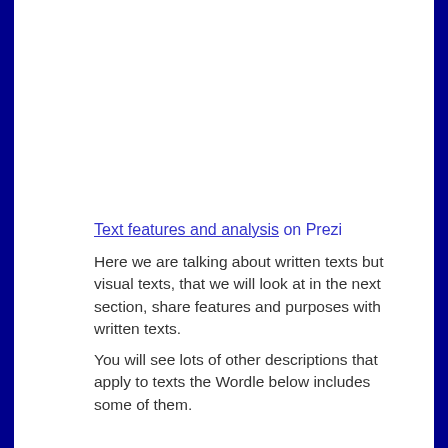Text features and analysis on Prezi
Here we are talking about written texts but visual texts, that we will look at in the next section, share features and purposes with written texts.
You will see lots of other descriptions that apply to texts the Wordle below includes some of them.